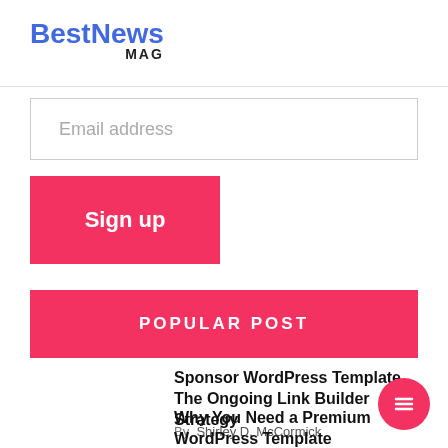BestNews MAG
Email address
Sign up
POPULAR POST
Sponsor WordPress Template The Ongoing Link Builder Strategy
By  Shirley D. McCormick
Why You Need a Premium WordPress Template